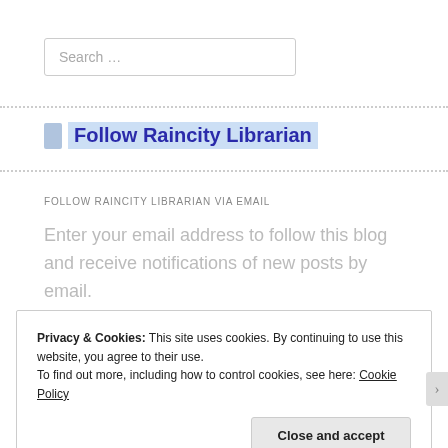Search …
Follow Raincity Librarian
FOLLOW RAINCITY LIBRARIAN VIA EMAIL
Enter your email address to follow this blog and receive notifications of new posts by email.
Privacy & Cookies: This site uses cookies. By continuing to use this website, you agree to their use.
To find out more, including how to control cookies, see here: Cookie Policy
Close and accept